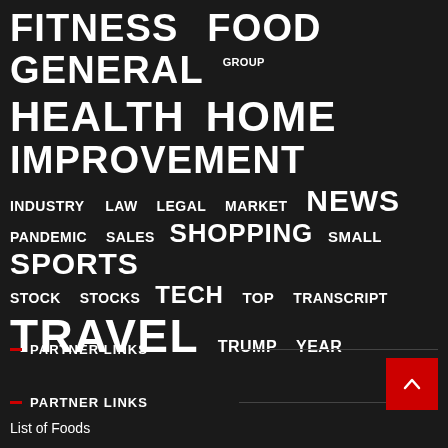[Figure (infographic): Tag cloud with words of varying sizes on dark background: FITNESS, FOOD, GENERAL, GROUP, HEALTH, HOME, IMPROVEMENT, INDUSTRY, LAW, LEGAL, MARKET, NEWS, PANDEMIC, SALES, SHOPPING, SMALL, SPORTS, STOCK, STOCKS, TECH, TOP, TRANSCRIPT, TRAVEL, TRUMP, YEAR]
PARTNER LINKS
PARTNER LINKS
List of Foods